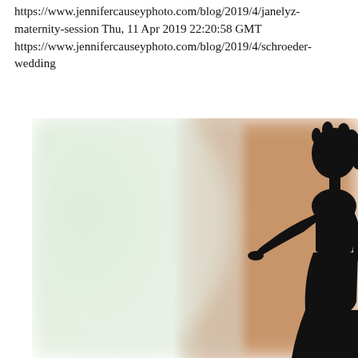https://www.jennifercauseyphoto.com/blog/2019/4/janelyz-maternity-session Thu, 11 Apr 2019 22:20:58 GMT https://www.jennifercauseyphoto.com/blog/2019/4/schroeder-wedding
[Figure (photo): A blurred background photograph showing a silhouette of a woman with curly hair on the right side, against a soft bokeh backdrop with light green and warm beige/peach tones.]